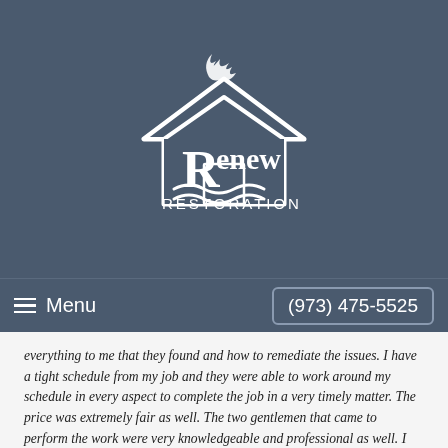[Figure (logo): Renew Restoration logo — white house outline with flame/smoke above and waves below, text 'Renew RESTORATION' in white on steel-blue background]
Menu   (973) 475-5525
everything to me that they found and how to remediate the issues. I have a tight schedule from my job and they were able to work around my schedule in every aspect to complete the job in a very timely matter. The price was extremely fair as well. The two gentlemen that came to perform the work were very knowledgeable and professional as well. I would highly recommend Chris and his company."
Matthew F., Mold Remediation in Wayne, NJ